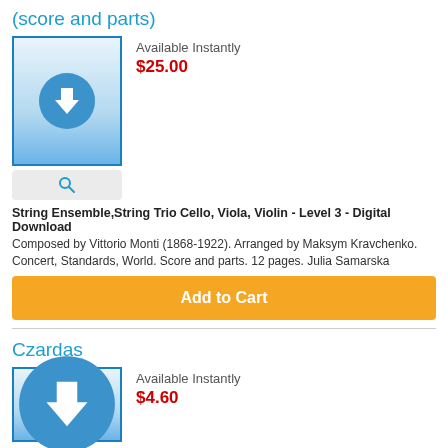(score and parts)
[Figure (illustration): Sheet music digital download thumbnail with download icon (music note with arrow on blue circle)]
[Figure (illustration): Preview/search magnifying glass button]
Available Instantly
$25.00
String Ensemble,String Trio Cello, Viola, Violin - Level 3 - Digital Download
Composed by Vittorio Monti (1868-1922). Arranged by Maksym Kravchenko. Concert, Standards, World. Score and parts. 12 pages. Julia Samarska
Add to Cart
Czardas
Available Instantly
$4.60
[Figure (illustration): Sheet music digital download thumbnail with download icon (music note with arrow on blue circle), partially visible]